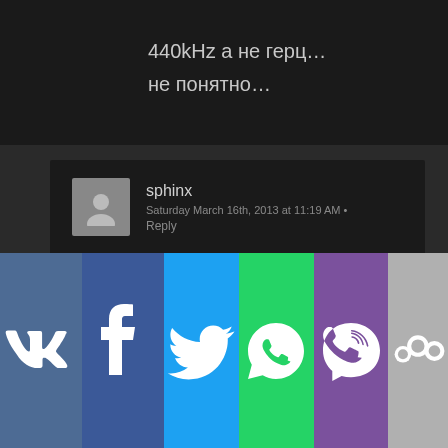440kHz а не герц…

не понятно…
sphinx
Saturday March 16th, 2013 at 11:19 AM • Reply

Согласна с вами, Евгений… Явно дело не чисто… Нашим сознанием пытаются манипулировать. Пока включили Моцарта, а потом какую-то "химию". Так сразу
[Figure (screenshot): Social media sharing bar with icons for VK, Facebook, Twitter, WhatsApp, Viber, and Odnoklassniki]